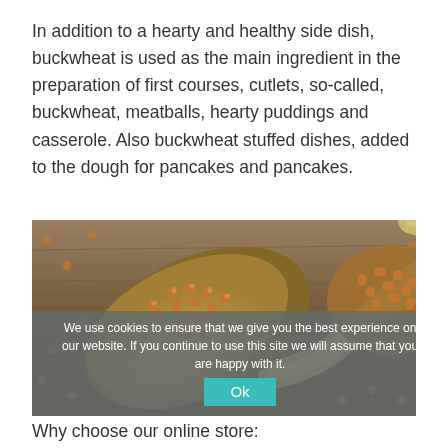In addition to a hearty and healthy side dish, buckwheat is used as the main ingredient in the preparation of first courses, cutlets, so-called, buckwheat, meatballs, hearty puddings and casserole. Also buckwheat stuffed dishes, added to the dough for pancakes and pancakes.
[Figure (photo): Close-up photo of buckwheat grains on a wooden spoon, with more buckwheat scattered on a wooden surface. A cookie consent overlay is visible at the bottom of the image with the text: 'We use cookies to ensure that we give you the best experience on our website. If you continue to use this site we will assume that you are happy with it.' and an 'Ok' button.]
Why choose our online store: